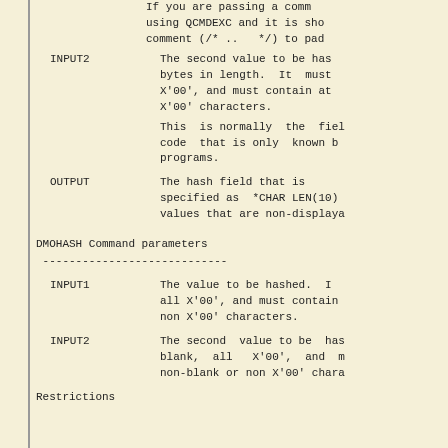If  you are  passing a  comm using QCMDEXC and it is  sho comment (/* ..   */) to pad
INPUT2 - The second value to be has bytes in  length.  It  must X'00', and  must contain at X'00' characters.
This  is normally  the  fiel code  that  is only  known b programs.
OUTPUT - The hash field that is  specified as  *CHAR LEN(10) values that are non-displaya
DMOHASH Command parameters
-----------------------------
INPUT1 - The  value  to be  hashed.  I all X'00', and  must contain non X'00' characters.
INPUT2 - The second  value  to be  has blank,  all   X'00',  and  m non-blank or non X'00' chara
Restrictions